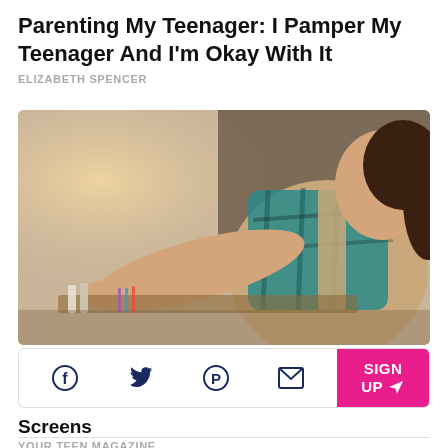Parenting My Teenager: I Pamper My Teenager And I'm Okay With It
ELIZABETH SPENCER
[Figure (photo): A teenage girl wearing a blue plaid shirt and a tan apron, leaning over a table working with art supplies or craft materials, viewed from above at an angle.]
Screens
YOUR TEEN MAGAZINE